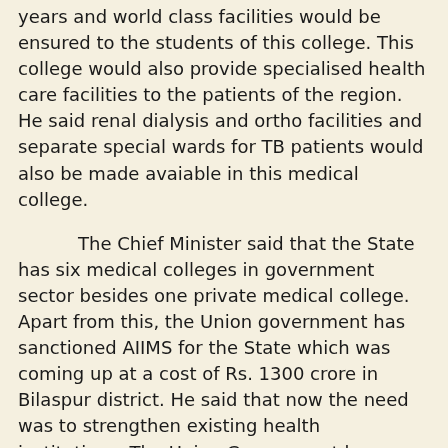years and world class facilities would be ensured to the students of this college. This college would also provide specialised health care facilities to the patients of the region. He said renal dialysis and ortho facilities and separate special wards for TB patients would also be made avaiable in this medical college.
The Chief Minister said that the State has six medical colleges in government sector besides one private medical college. Apart from this, the Union government has sanctioned AIIMS for the State which was coming up at a cost of Rs. 1300 crore in Bilaspur district. He said that now the need was to strengthen existing health institutions. The Union Government has launched Ayushmann Bharat scheme which was the world's largest health scheme covering about 50 crore people of the country. He said that the state government has started HimCare scheme to provide health cover to all those families that have not been covered under the Ayushmann Bharat Scheme.
Jai Ram Thakur said that the government was promoting institutional deliveries with several incentives